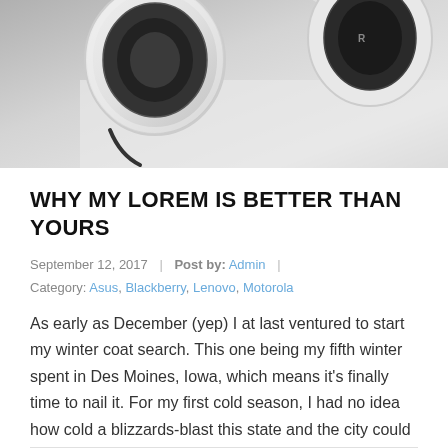[Figure (photo): Black and white photograph of white Razer gaming headphones on a light surface, viewed from above/side angle]
WHY MY LOREM IS BETTER THAN YOURS
September 12, 2017  |  Post by: Admin  |  Category: Asus, Blackberry, Lenovo, Motorola
As early as December (yep) I at last ventured to start my winter coat search. This one being my fifth winter spent in Des Moines, Iowa, which means it's finally time to nail it. For my first cold season, I had no idea how cold a blizzards-blast this state and the city could actually be. [...]
Read more